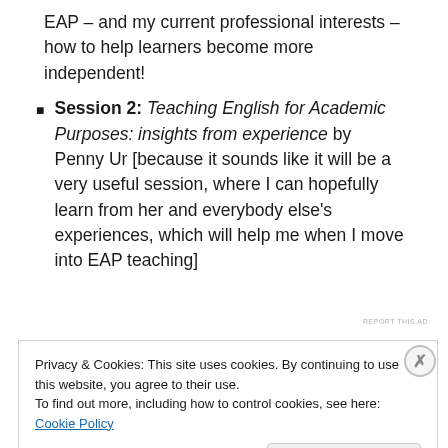EAP – and my current professional interests – how to help learners become more independent!
Session 2: Teaching English for Academic Purposes: insights from experience by Penny Ur [because it sounds like it will be a very useful session, where I can hopefully learn from her and everybody else's experiences, which will help me when I move into EAP teaching]
REPORT THIS AD
Privacy & Cookies: This site uses cookies. By continuing to use this website, you agree to their use.
To find out more, including how to control cookies, see here: Cookie Policy
Close and accept